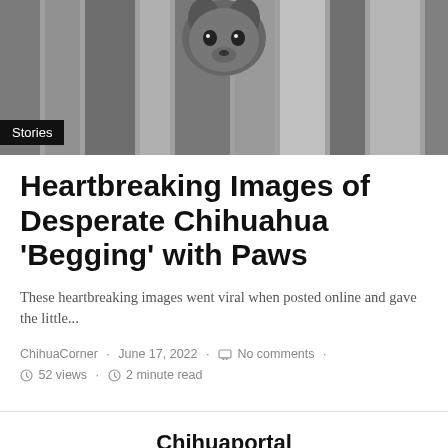[Figure (photo): Black and white photo of a Chihuahua dog peering through fence slats, with a 'Stories' badge overlay in the bottom left.]
Heartbreaking Images of Desperate Chihuahua 'Begging' with Paws
These heartbreaking images went viral when posted online and gave the little...
ChihuaCorner · June 17, 2022 · No comments · 52 views · 2 minute read
Chihuaportal
[Figure (logo): Facebook icon circle with 1.1M count and Instagram icon circle]